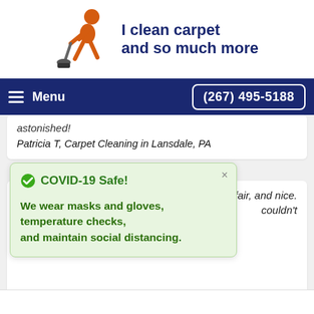[Figure (logo): I Clean Carpet and so much more logo with orange figure pushing a carpet cleaner]
Menu | (267) 495-5188
astonished!
Patricia T, Carpet Cleaning in Lansdale, PA
[Figure (infographic): COVID-19 Safe! popup box: We wear masks and gloves, temperature checks, and maintain social distancing.]
ely, fair, and nice. couldn't
Jeremy A., Carpet Cleaning in Coatesville, PA